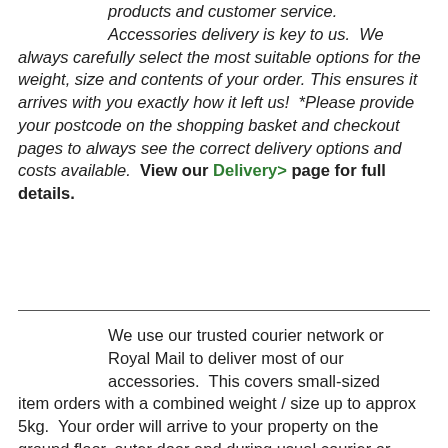products and customer service. Accessories delivery is key to us. We always carefully select the most suitable options for the weight, size and contents of your order. This ensures it arrives with you exactly how it left us! *Please provide your postcode on the shopping basket and checkout pages to always see the correct delivery options and costs available. View our Delivery> page for full details.
We use our trusted courier network or Royal Mail to deliver most of our accessories. This covers small-sized item orders with a combined weight / size up to approx 5kg. Your order will arrive to your property on the ground floor, outer door and during usual courier or postal delivery hours. Wherever